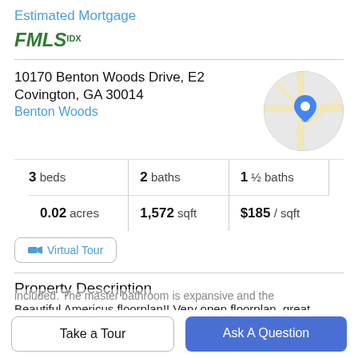Estimated Mortgage
[Figure (logo): FMLS IDX logo in green italic bold text]
10170 Benton Woods Drive, E2
Covington, GA 30014
Benton Woods
[Figure (map): Circular map thumbnail showing street map with blue location pin]
3 beds | 2 baths | 1 ½ baths
0.02 acres | 1,572 sqft | $185 / sqft
Virtual Tour
Property Description
Beautiful Americus floorplan!! Very open floorplan, great
Take a Tour
Ask A Question
included. The master bathroom is expansive and the